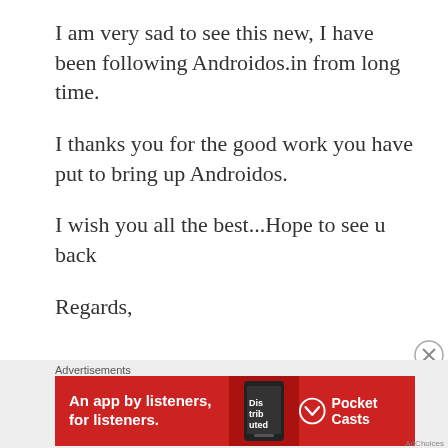I am very sad to see this new, I have been following Androidos.in from long time.
I thanks you for the good work you have put to bring up Androidos.
I wish you all the best...Hope to see u back
Regards,
[Figure (screenshot): Red advertisement banner for Pocket Casts app with text 'An app by listeners, for listeners.' and Pocket Casts logo]
Advertisements